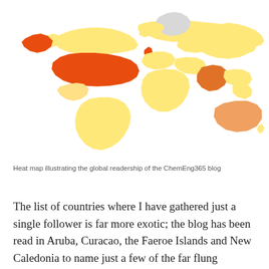[Figure (map): Heat map / choropleth world map showing global readership of the ChemEng365 blog. Countries colored from light yellow (low readership) to orange/red (high readership). USA and Alaska are deep orange-red (highest). UK is orange-red. India is orange. Australia is light orange. Most of Europe, Russia, Canada, and South America are light yellow. Greenland is light gray (no data).]
Heat map illustrating the global readership of the ChemEng365 blog
The list of countries where I have gathered just a single follower is far more exotic; the blog has been read in Aruba, Curacao, the Faeroe Islands and New Caledonia to name just a few of the far flung